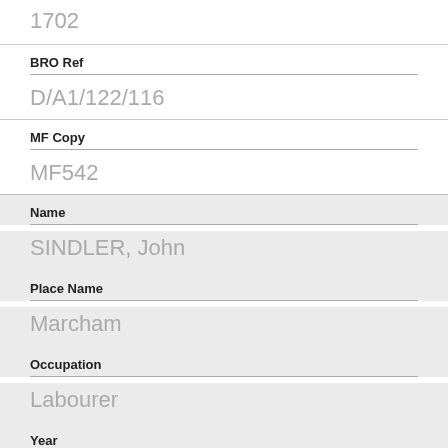1702
BRO Ref
D/A1/122/116
MF Copy
MF542
Name
SINDLER, John
Place Name
Marcham
Occupation
Labourer
Year
1709